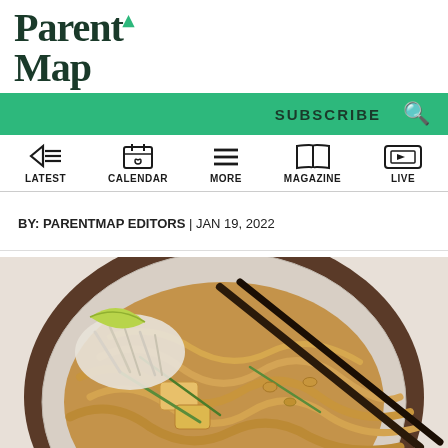ParentMap
SUBSCRIBE
LATEST | CALENDAR | MORE | MAGAZINE | LIVE
BY: PARENTMAP EDITORS | JAN 19, 2022
[Figure (photo): Overhead photo of a bowl of pad thai noodles with tofu, bean sprouts, scallions, lime, and chopsticks on a speckled ceramic plate]